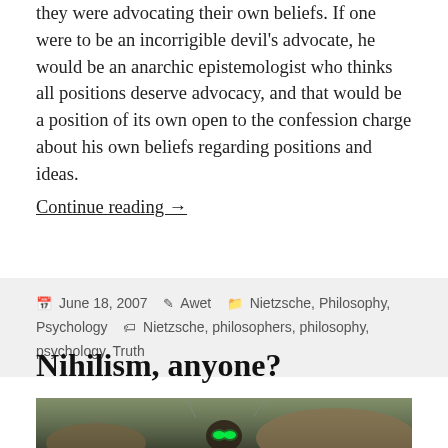they were advocating their own beliefs. If one were to be an incorrigible devil's advocate, he would be an anarchic epistemologist who thinks all positions deserve advocacy, and that would be a position of its own open to the confession charge about his own beliefs regarding positions and ideas.
Continue reading →
Posted June 18, 2007  By Awet  Categories Nietzsche, Philosophy, Psychology  Tags Nietzsche, philosophers, philosophy, psychology, Truth
Nihilism, anyone?
[Figure (photo): Dark stylized photo of a figure wearing goggles with glowing green lenses, set against a rocky desert-like background]